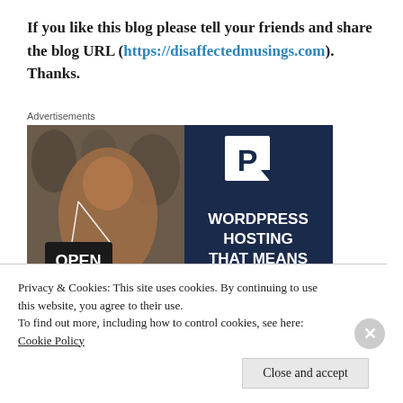If you like this blog please tell your friends and share the blog URL (https://disaffectedmusings.com). Thanks.
Advertisements
[Figure (photo): WordPress hosting advertisement showing a woman holding an OPEN sign on the left side and dark navy blue background with white 'P' logo and text 'WORDPRESS HOSTING THAT MEANS BUSINESS.' on the right side.]
Privacy & Cookies: This site uses cookies. By continuing to use this website, you agree to their use.
To find out more, including how to control cookies, see here: Cookie Policy